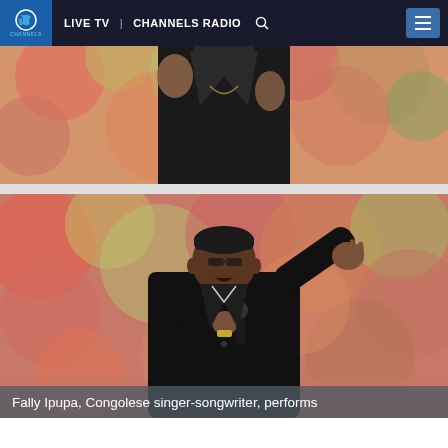LIVE TV   CHANNELS RADIO
[Figure (photo): Person in black suit performing on stage with colorful blurred crowd background — upper portion of body cropped]
[Figure (photo): Fally Ipupa, Congolese singer-songwriter, performing on stage in a black suit, holding a microphone, raising his right hand, with colorful blurred stadium crowd in background]
Fally Ipupa, Congolese singer-songwriter, performs